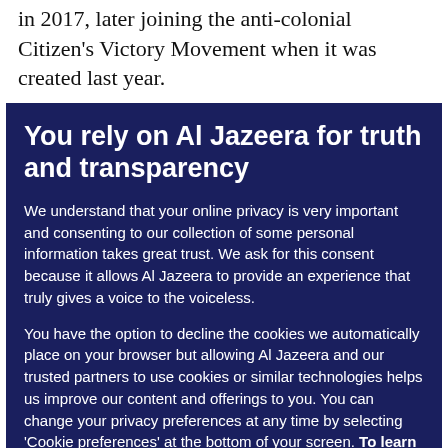in 2017, later joining the anti-colonial Citizen's Victory Movement when it was created last year.
You rely on Al Jazeera for truth and transparency
We understand that your online privacy is very important and consenting to our collection of some personal information takes great trust. We ask for this consent because it allows Al Jazeera to provide an experience that truly gives a voice to the voiceless.
You have the option to decline the cookies we automatically place on your browser but allowing Al Jazeera and our trusted partners to use cookies or similar technologies helps us improve our content and offerings to you. You can change your privacy preferences at any time by selecting ‘Cookie preferences’ at the bottom of your screen. To learn more, please view our Cookie Policy.